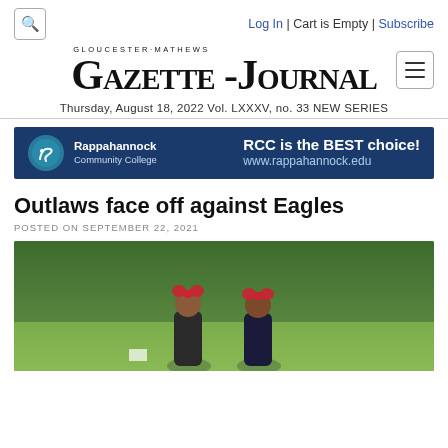Log In | Cart is Empty | Subscribe
Gloucester-Mathews Gazette-Journal
Thursday, August 18, 2022 Vol. LXXXV, no. 33 NEW SERIES
[Figure (infographic): Rappahannock Community College advertisement banner: RCC is the BEST choice! www.rappahannock.edu]
Outlaws face off against Eagles
POSTED ON SEPTEMBER 22, 2021
[Figure (photo): Two girls on a sports field with trees in background, wearing red accessories]